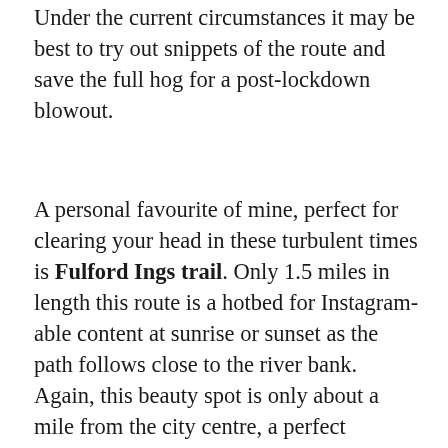Under the current circumstances it may be best to try out snippets of the route and save the full hog for a post-lockdown blowout.
A personal favourite of mine, perfect for clearing your head in these turbulent times is Fulford Ings trail. Only 1.5 miles in length this route is a hotbed for Instagram-able content at sunrise or sunset as the path follows close to the river bank. Again, this beauty spot is only about a mile from the city centre, a perfect addition to a summer's day walk around the city or a great starting route while tackling Couch to 5K.
While the Government's social distancing guidelines remain in place enjoy the